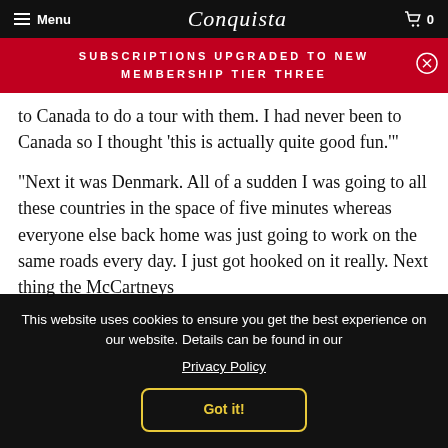Menu | Conquista | 0
SUBSCRIPTIONS UPGRADED TO NEW MEMBERSHIP TIER THREE
to Canada to do a tour with them. I had never been to Canada so I thought 'this is actually quite good fun.'"
"Next it was Denmark. All of a sudden I was going to all these countries in the space of five minutes whereas everyone else back home was just going to work on the same roads every day. I just got hooked on it really. Next thing the McCartneys off...
This website uses cookies to ensure you get the best experience on our website. Details can be found in our Privacy Policy Got it!